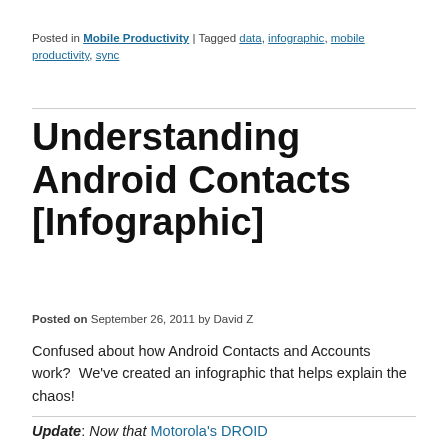Posted in Mobile Productivity | Tagged data, infographic, mobile productivity, sync
Understanding Android Contacts [Infographic]
Posted on September 26, 2011 by David Z
Confused about how Android Contacts and Accounts work?  We've created an infographic that helps explain the chaos!
Update: Now that Motorola's DROID